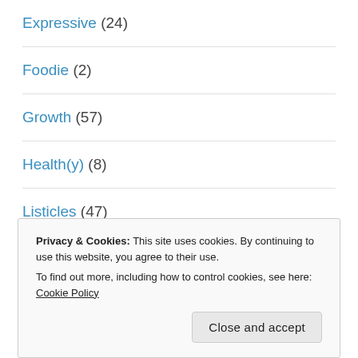Expressive (24)
Foodie (2)
Growth (57)
Health(y) (8)
Listicles (47)
Media (93)
Privacy & Cookies: This site uses cookies. By continuing to use this website, you agree to their use.
To find out more, including how to control cookies, see here: Cookie Policy
Ramblings (61)